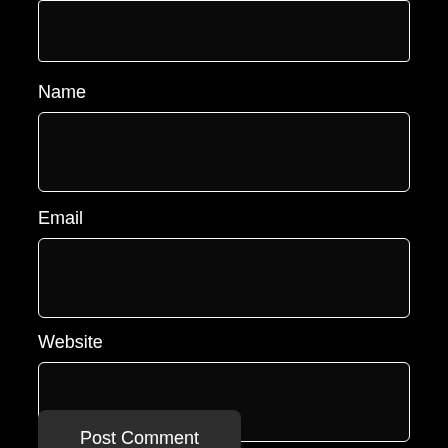[Figure (screenshot): Top portion of a textarea input box with white border on black background, partially visible at top of page]
Name
[Figure (screenshot): Name input field — empty text box with white border on black background]
Email
[Figure (screenshot): Email input field — empty text box with white border on black background]
Website
[Figure (screenshot): Website input field — empty text box with white border on black background]
Post Comment